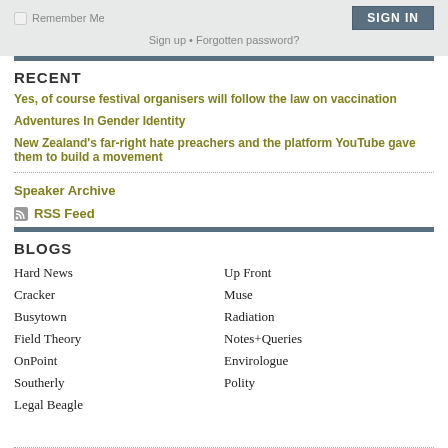Remember Me  SIGN IN
Sign up • Forgotten password?
RECENT
Yes, of course festival organisers will follow the law on vaccination
Adventures In Gender Identity
New Zealand's far-right hate preachers and the platform YouTube gave them to build a movement
Speaker Archive
RSS Feed
BLOGS
Hard News
Up Front
Cracker
Muse
Busytown
Radiation
Field Theory
Notes+Queries
OnPoint
Envirologue
Southerly
Polity
Legal Beagle